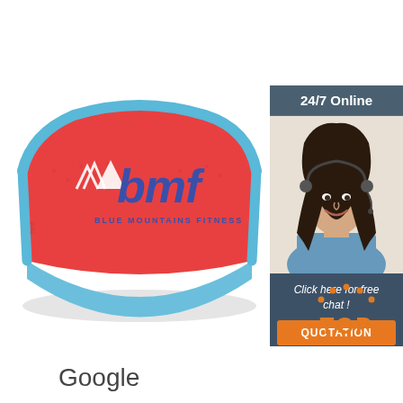[Figure (photo): Red and light blue sports visor cap with 'bmf BLUE MOUNTAINS FITNESS' logo embroidered in blue on the front, photographed on white background]
[Figure (photo): Dark gray/slate banner ad with '24/7 Online' text at top, photo of a smiling woman with headset, 'Click here for free chat!' text, and an orange 'QUOTATION' button at bottom]
[Figure (illustration): Orange 'TOP' text with orange dotted arch above it, serving as a back-to-top navigation element]
Google